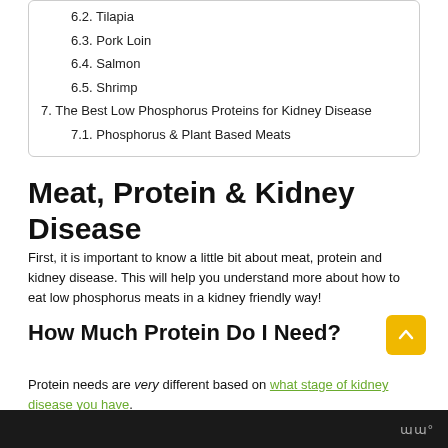6.2. Tilapia
6.3. Pork Loin
6.4. Salmon
6.5. Shrimp
7. The Best Low Phosphorus Proteins for Kidney Disease
7.1. Phosphorus & Plant Based Meats
Meat, Protein & Kidney Disease
First, it is important to know a little bit about meat, protein and kidney disease. This will help you understand more about how to eat low phosphorus meats in a kidney friendly way!
How Much Protein Do I Need?
Protein needs are very different based on what stage of kidney disease you have.
www°